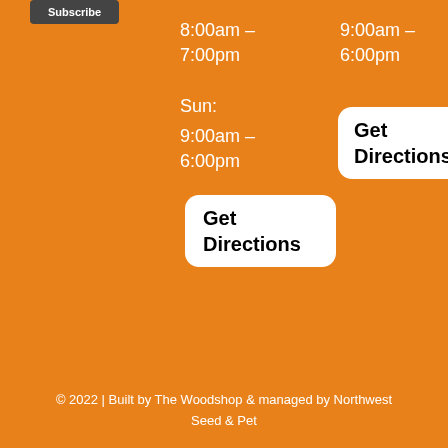Subscribe
8:00am – 7:00pm
9:00am – 6:00pm
Sun:
9:00am – 6:00pm
Get Directions
Get Directions
© 2022 | Built by The Woodshop & managed by Northwest Seed & Pet